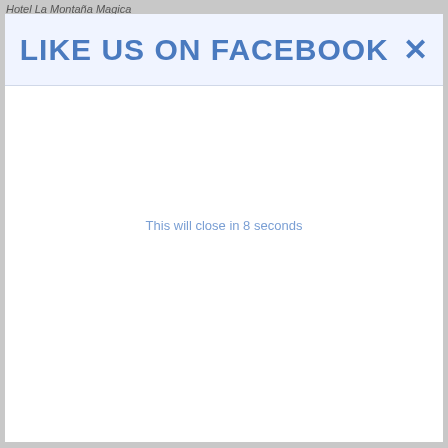Hotel La Montaña Magica
LIKE US ON FACEBOOK ✕
This will close in 8 seconds